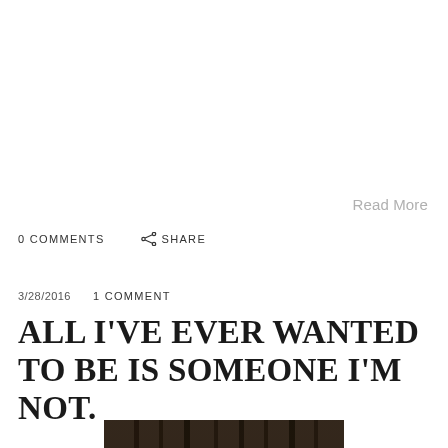Read More
0 COMMENTS    SHARE
3/28/2016    1 COMMENT
ALL I'VE EVER WANTED TO BE IS SOMEONE I'M NOT.
[Figure (photo): Dark forest photograph showing tall trees with dark brown tones, partially visible at the bottom of the page]